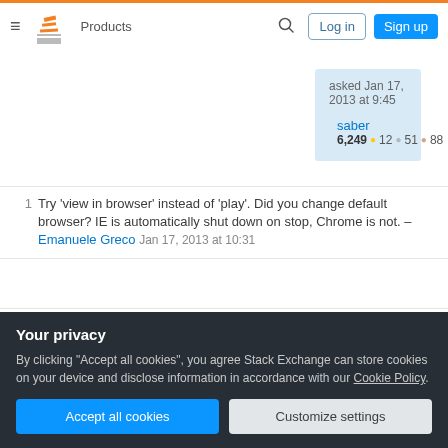≡ [Stack Overflow logo] Products 🔍 Log in Sign up
asked Jan 17, 2013 at 9:45
saber
6,249 ●12 ●51 ●88
1  Try 'view in browser' instead of 'play'. Did you change default browser? IE is automatically shut down on stop, Chrome is not. – Emanuele Greco Jan 17, 2013 at 10:31
No, I'm using FF, but sometimes I need to debug the application. – saber Jan 17, 2013 at 10:36
Your privacy
By clicking "Accept all cookies", you agree Stack Exchange can store cookies on your device and disclose information in accordance with our Cookie Policy.
Accept all cookies  Customize settings
1  It detached the debugger from the processes being